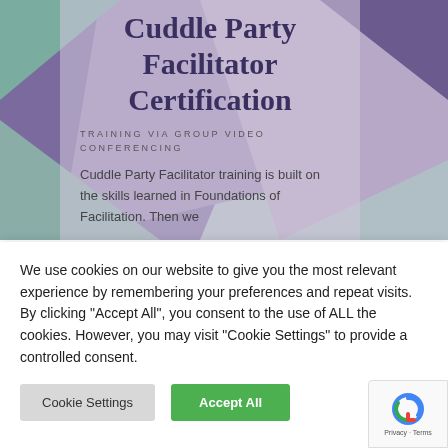Cuddle Party Facilitator Certification
TRAINING VIA GROUP VIDEO CONFERENCING
Cuddle Party Facilitator training is built on the skills learned in Foundations of Facilitation. Then we
We use cookies on our website to give you the most relevant experience by remembering your preferences and repeat visits. By clicking “Accept All”, you consent to the use of ALL the cookies. However, you may visit “Cookie Settings” to provide a controlled consent.
Cookie Settings
Accept All